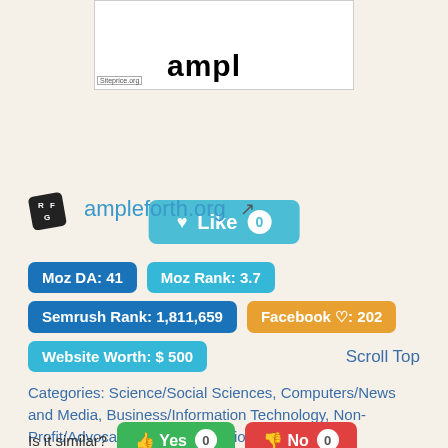[Figure (logo): Ampleforth logo showing partial text 'ampl' with siteprice.org watermark]
[Figure (other): Like button with heart icon showing count 0]
ampleforth.org
Moz DA: 41  Moz Rank: 3.7  Semrush Rank: 1,811,659  Facebook ♡: 202  Website Worth: $ 500
Scroll Top
Categories: Science/Social Sciences, Computers/News and Media, Business/Information Technology, Non-Profit/Advocacy/NGO, Information Technology
Is it similar?  Yes 0  No 0